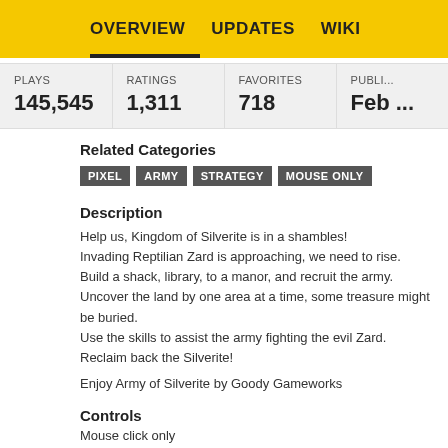OVERVIEW   UPDATES   WIKI
| PLAYS | RATINGS | FAVORITES | PUBLI... |
| --- | --- | --- | --- |
| 145,545 | 1,311 | 718 | Feb ... |
Related Categories
PIXEL
ARMY
STRATEGY
MOUSE ONLY
Description
Help us, Kingdom of Silverite is in a shambles!
Invading Reptilian Zard is approaching, we need to rise.
Build a shack, library, to a manor, and recruit the army.
Uncover the land by one area at a time, some treasure might be buried.
Use the skills to assist the army fighting the evil Zard.
Reclaim back the Silverite!
Enjoy Army of Silverite by Goody Gameworks
Controls
Mouse click only